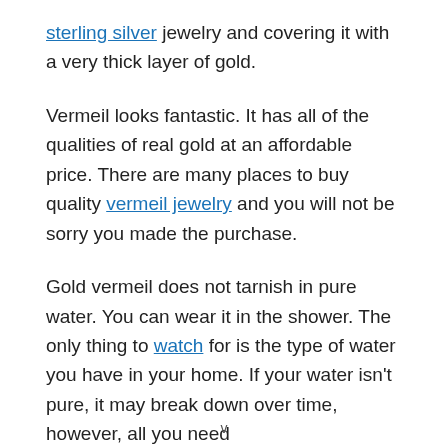sterling silver jewelry and covering it with a very thick layer of gold.
Vermeil looks fantastic. It has all of the qualities of real gold at an affordable price. There are many places to buy quality vermeil jewelry and you will not be sorry you made the purchase.
Gold vermeil does not tarnish in pure water. You can wear it in the shower. The only thing to watch for is the type of water you have in your home. If your water isn't pure, it may break down over time, however, all you need
v